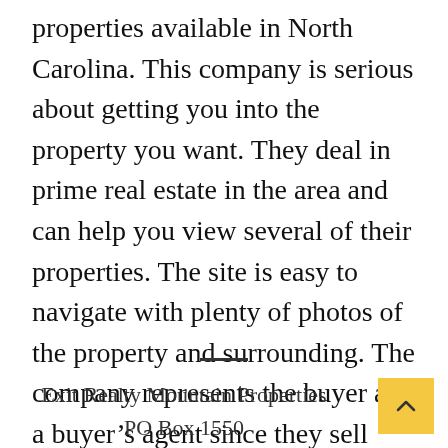properties available in North Carolina. This company is serious about getting you into the property you want. They deal in prime real estate in the area and can help you view several of their properties. The site is easy to navigate with plenty of photos of the property and surrounding. The company represents the buyer as a buyer's agent since they sell directly for the buyer so you are not just dealing with the listing agent; you are dealing closer to the source.
Exit Realty Mountain Properties
PO Box 1550